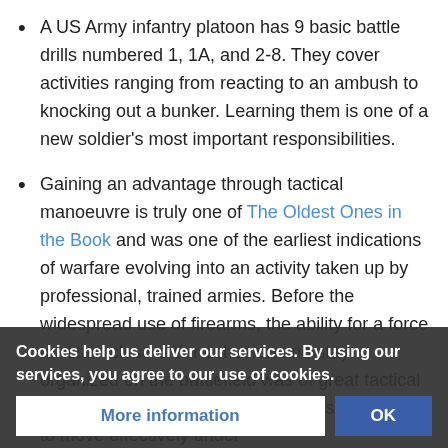A US Army infantry platoon has 9 basic battle drills numbered 1, 1A, and 2-8. They cover activities ranging from reacting to an ambush to knocking out a bunker. Learning them is one of a new soldier's most important responsibilities.
Gaining an advantage through tactical manoeuvre is truly one of The Oldest Ones in the Book and was one of the earliest indications of warfare evolving into an activity taken up by professional, trained armies. Before the widespread use of firearms, the ability for a force to retain close order cohesion and stay organized on the battlefield was of great tactical advantage. The use of drill to teach soldiers how to move effectively under order during situations of duress separated a disciplined ... (faded) ... for that matter) from ... knew two tactics: "char... ... were used
Cookies help us deliver our services. By using our services, you agree to our use of cookies.